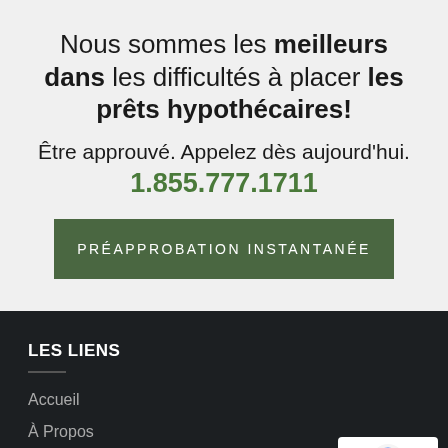Nous sommes les meilleurs dans les difficultés à placer les prêts hypothécaires!
Être approuvé. Appelez dès aujourd'hui. 1.855.777.1711
PRÉAPPROBATION INSTANTANÉE
LES LIENS
Accueil
À Propos
Achetez une maison